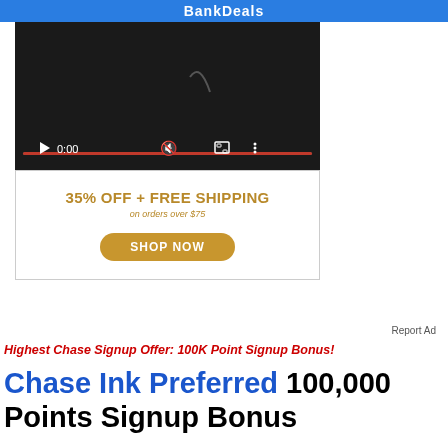BankDeals
[Figure (screenshot): Video player with dark background showing 0:00 timestamp, play button, muted speaker icon, fullscreen icon, and more options icon; progress bar at bottom]
[Figure (infographic): Advertisement banner: '35% OFF + FREE SHIPPING on orders over $75' with 'SHOP NOW' button in gold/brown colors]
Report Ad
Highest Chase Signup Offer: 100K Point Signup Bonus!
Chase Ink Preferred 100,000 Points Signup Bonus